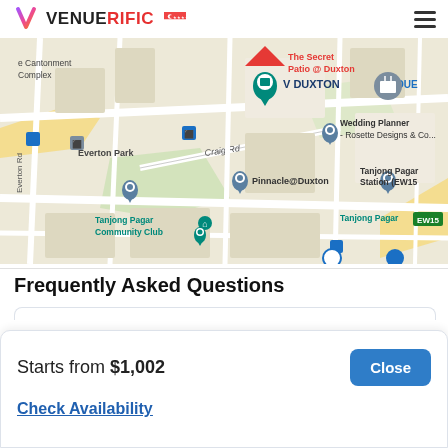VENUERIFIC
[Figure (map): Google Maps view showing Tanjong Pagar area in Singapore with markers for V Duxton, Pinnacle@Duxton, Tanjong Pagar Community Club, Wedding Planner Rosette Designs & Co., Tanjong Pagar Station (EW15), Everton Park, Cantonment Complex, and OUE. Craig Rd label visible. A red inverted triangle marker labeled 'The Secret Patio @ Duxton' is highlighted. A teal/cyan marker for V Duxton is also visible.]
Frequently Asked Questions
Starts from $1,002
Check Availability